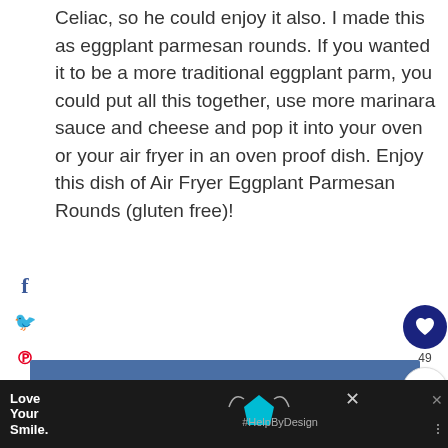Celiac, so he could enjoy it also. I made this as eggplant parmesan rounds. If you wanted it to be a more traditional eggplant parm, you could put all this together, use more marinara sauce and cheese and pop it into your oven or your air fryer in an oven proof dish. Enjoy this dish of Air Fryer Eggplant Parmesan Rounds (gluten free)!
[Figure (other): Blue advertisement banner rectangle]
[Figure (other): Bottom advertisement bar with Love Your Smile text, tooth shape icon, #HelpByDesign hashtag, and close buttons on dark background]